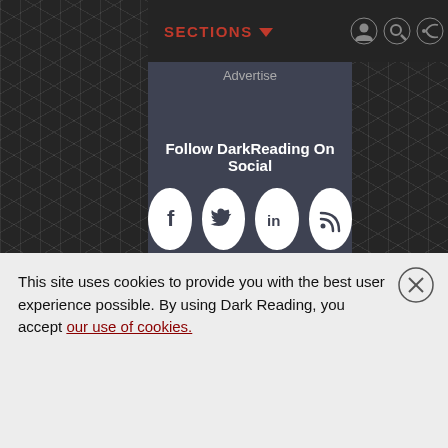SECTIONS ▼
Advertise
Follow DarkReading On Social
[Figure (illustration): Four white circular social media icon buttons for Facebook, Twitter, LinkedIn, and RSS feed on a dark background]
[Figure (logo): Informa Tech logo - partial, showing circular arc and text 'informa tech' in white on dark background]
This site uses cookies to provide you with the best user experience possible. By using Dark Reading, you accept our use of cookies.